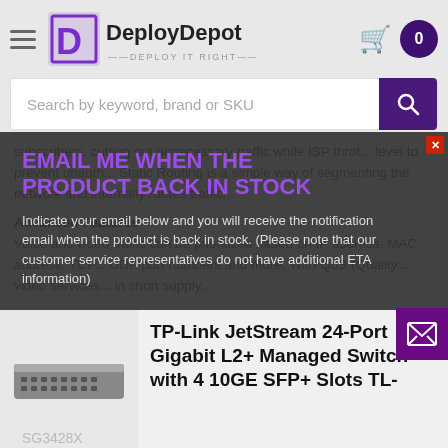DeployDepot — DEPLOY IT RIGHT
Search by keyword, brand or SKU
subscribers, cutting out unnecessary traffic while ISP throttroling... level to prevent unauth... Static Routing is a simple way of segmenting the network and internally routes traffic...
Advanced Features
Voice and video traffic can be prioritized based on IP address, MAC address, TCP... UDP port numbers and more. With QoS (Quality... video services... in short supply...
ISP Features
EMAIL ME WHEN THE PRODUCT BACK IN STOCK
Indicate your email below and you will receive the notification email when the product is back in stock. (Please note that our customer service representatives do not have additional ETA information)
TP-Link JetStream 24-Port Gigabit L2+ Managed Switch with 4 10GE SFP+ Slots TL-
SG3428X